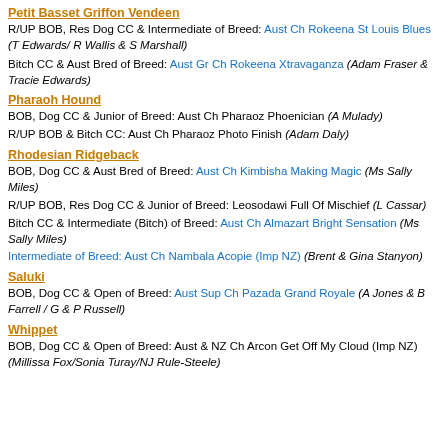Petit Basset Griffon Vendeen
R/UP BOB, Res Dog CC & Intermediate of Breed: Aust Ch Rokeena St Louis Blues (T Edwards/ R Wallis & S Marshall)
Bitch CC & Aust Bred of Breed: Aust Gr Ch Rokeena Xtravaganza (Adam Fraser & Tracie Edwards)
Pharaoh Hound
BOB, Dog CC & Junior of Breed: Aust Ch Pharaoz Phoenician (A Mulady)
R/UP BOB & Bitch CC: Aust Ch Pharaoz Photo Finish (Adam Daly)
Rhodesian Ridgeback
BOB, Dog CC & Aust Bred of Breed: Aust Ch Kimbisha Making Magic (Ms Sally Miles)
R/UP BOB, Res Dog CC & Junior of Breed: Leosodawi Full Of Mischief (L Cassar)
Bitch CC & Intermediate (Bitch) of Breed: Aust Ch Almazart Bright Sensation (Ms Sally Miles)
Intermediate of Breed: Aust Ch Nambala Acopie (Imp NZ) (Brent & Gina Stanyon)
Saluki
BOB, Dog CC & Open of Breed: Aust Sup Ch Pazada Grand Royale (A Jones & B Farrell / G & P Russell)
Whippet
BOB, Dog CC & Open of Breed: Aust & NZ Ch Arcon Get Off My Cloud (Imp NZ) (Millissa Fox/Sonia Turay/NJ Rule-Steele)